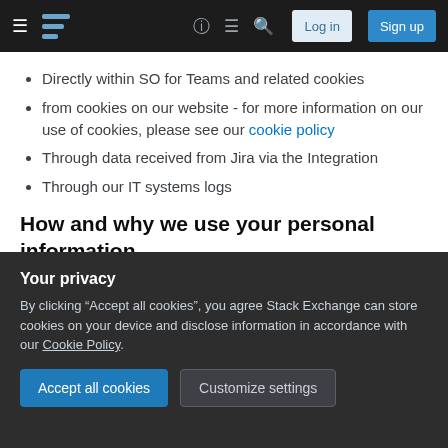Stack Exchange navigation bar with hamburger menu, logo, help, chat, search icons, Log in and Sign up buttons
Directly within SO for Teams and related cookies
from cookies on our website - for more information on our use of cookies, please see our cookie policy
Through data received from Jira via the Integration
Through our IT systems logs
How and why we use your personal information
Under data protection law, we can only use your personal information if we have a proper reason for doing so, eg:
to comply with our legal and regulatory obligations;
[Figure (screenshot): Cookie consent banner overlay with dark background. Title: 'Your privacy'. Body: 'By clicking "Accept all cookies", you agree Stack Exchange can store cookies on your device and disclose information in accordance with our Cookie Policy.' Two buttons: 'Accept all cookies' (blue) and 'Customize settings' (dark grey).]
commercial reason to use your information, so long as this